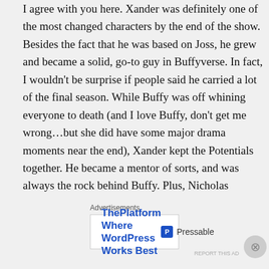I agree with you here. Xander was definitely one of the most changed characters by the end of the show. Besides the fact that he was based on Joss, he grew and became a solid, go-to guy in Buffyverse. In fact, I wouldn't be surprise if people said he carried a lot of the final season. While Buffy was off whining everyone to death (and I love Buffy, don't get me wrong…but she did have some major drama moments near the end), Xander kept the Potentials together. He became a mentor of sorts, and was always the rock behind Buffy. Plus, Nicholas
Advertisements
[Figure (other): Advertisement banner for Pressable: 'ThePlatform Where WordPress Works Best' with Pressable logo]